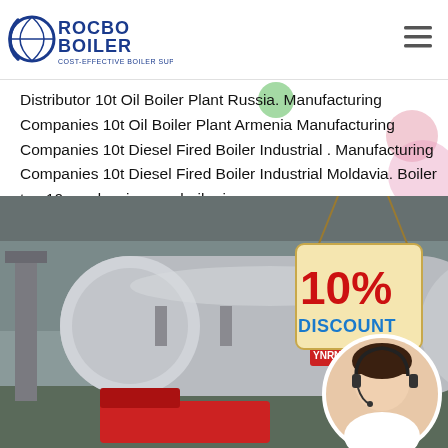ROCBO BOILER — COST-EFFECTIVE BOILER SUPPLIER
Distributor 10t Oil Boiler Plant Russia. Manufacturing Companies 10t Oil Boiler Plant Armenia Manufacturing Companies 10t Diesel Fired Boiler Industrial . Manufacturing Companies 10t Diesel Fired Boiler Industrial Moldavia. Boiler top 10 condensing gas boiler in…
Get Price
[Figure (photo): Industrial boiler equipment in a factory setting, with a circular inset showing a female customer service representative wearing a headset. A '10% DISCOUNT' badge is overlaid on the right side.]